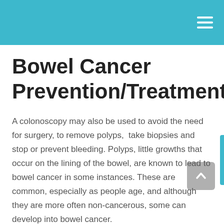Bowel Cancer Prevention/Treatment
A colonoscopy may also be used to avoid the need for surgery, to remove polyps,  take biopsies and stop or prevent bleeding. Polyps, little growths that occur on the lining of the bowel, are known to lead to bowel cancer in some instances. These are common, especially as people age, and although they are more often non-cancerous, some can develop into bowel cancer.
Our experienced physicians will take you